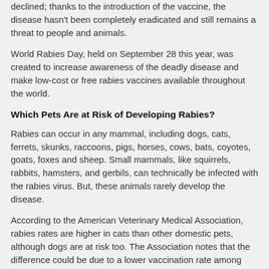declined; thanks to the introduction of the vaccine, the disease hasn't been completely eradicated and still remains a threat to people and animals.
World Rabies Day, held on September 28 this year, was created to increase awareness of the deadly disease and make low-cost or free rabies vaccines available throughout the world.
Which Pets Are at Risk of Developing Rabies?
Rabies can occur in any mammal, including dogs, cats, ferrets, skunks, raccoons, pigs, horses, cows, bats, coyotes, goats, foxes and sheep. Small mammals, like squirrels, rabbits, hamsters, and gerbils, can technically be infected with the rabies virus. But, these animals rarely develop the disease.
According to the American Veterinary Medical Association, rabies rates are higher in cats than other domestic pets, although dogs are at risk too. The Association notes that the difference could be due to a lower vaccination rate among cats.
How Do Pets Get Rabies?